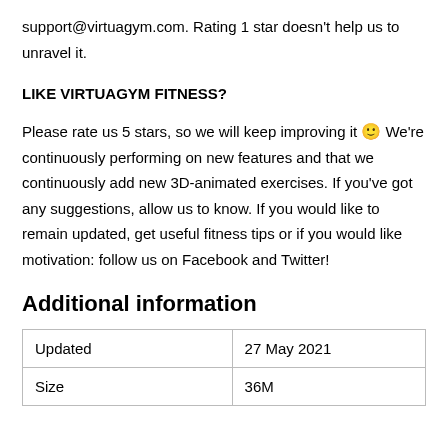support@virtuagym.com. Rating 1 star doesn't help us to unravel it.
LIKE VIRTUAGYM FITNESS?
Please rate us 5 stars, so we will keep improving it 🙂 We're continuously performing on new features and that we continuously add new 3D-animated exercises. If you've got any suggestions, allow us to know. If you would like to remain updated, get useful fitness tips or if you would like motivation: follow us on Facebook and Twitter!
Additional information
| Updated | 27 May 2021 |
| Size | 36M |